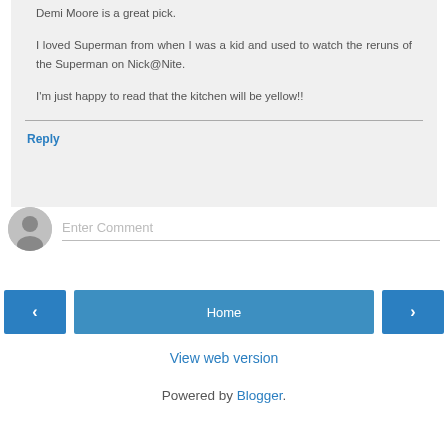Demi Moore is a great pick.

I loved Superman from when I was a kid and used to watch the reruns of the Superman on Nick@Nite.

I'm just happy to read that the kitchen will be yellow!!
Reply
Enter Comment
‹
Home
›
View web version
Powered by Blogger.